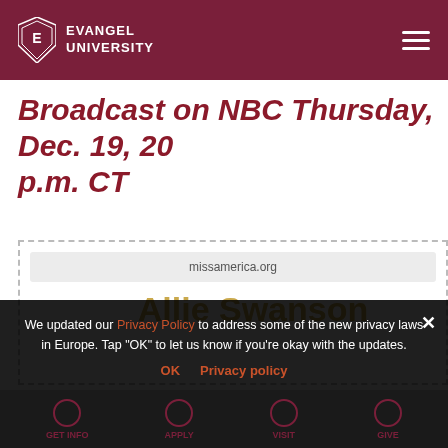Evangel University
Broadcast on NBC Thursday, Dec. 19, 20... p.m. CT
[Figure (screenshot): Embedded webpage showing missamerica.org URL bar and 'Allie Swanson' name in gold text]
We updated our Privacy Policy to address some of the new privacy laws in Europe. Tap "OK" to let us know if you're okay with the updates.
OK   Privacy policy